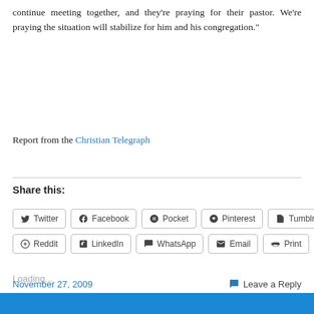continue meeting together, and they're praying for their pastor. We're praying the situation will stabilize for him and his congregation."
Report from the Christian Telegraph
Share this:
Twitter Facebook Pocket Pinterest Tumblr Reddit LinkedIn WhatsApp Email Print
Loading...
November 27, 2009   Leave a Reply